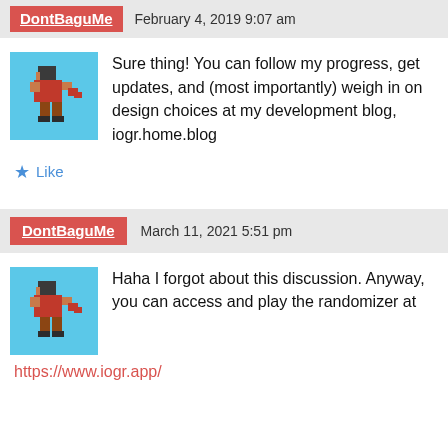DontBaguMe — February 4, 2019 9:07 am
Sure thing! You can follow my progress, get updates, and (most importantly) weigh in on design choices at my development blog, iogr.home.blog
Like
DontBaguMe — March 11, 2021 5:51 pm
Haha I forgot about this discussion. Anyway, you can access and play the randomizer at https://www.iogr.app/